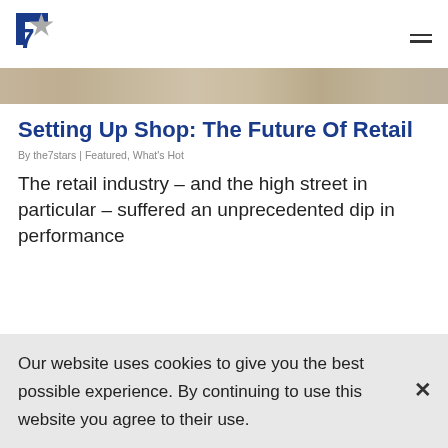7stars logo and hamburger menu
[Figure (photo): Hero image showing blurred retail/interior scene in warm beige/tan tones]
Setting Up Shop: The Future Of Retail
By the7stars | Featured, What's Hot
The retail industry – and the high street in particular – suffered an unprecedented dip in performance
Our website uses cookies to give you the best possible experience. By continuing to use this website you agree to their use.